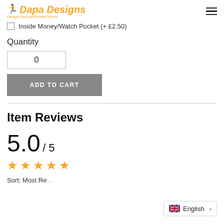Dapa Designs
Inside Money/Watch Pocket (+ £2.50)
Quantity
0
ADD TO CART
Item Reviews
5.0 / 5
★★★★★
Sort: Most Re...
English